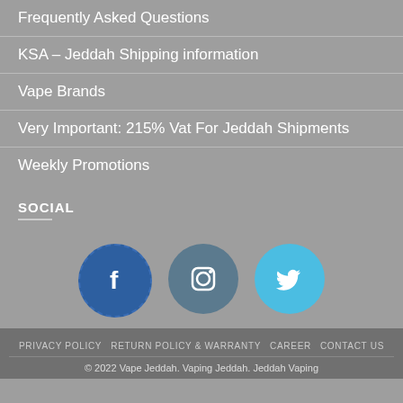Frequently Asked Questions
KSA – Jeddah Shipping information
Vape Brands
Very Important: 215% Vat For Jeddah Shipments
Weekly Promotions
SOCIAL
[Figure (infographic): Three social media icon circles: Facebook (dark blue with 'f' letter), Instagram (dark blue-grey with camera icon), Twitter (light blue with bird icon)]
PRIVACY POLICY   RETURN POLICY & WARRANTY   CAREER   CONTACT US
© 2022 Vape Jeddah. Vaping Jeddah. Jeddah Vaping